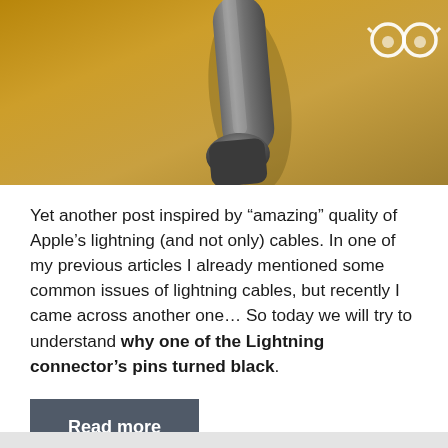[Figure (photo): Close-up photo of a dark cable connector/plug on a golden/warm-toned background, with partial text 'UNDERST...' visible and a geekdummy.com logo (glasses icon) in the top right corner]
Yet another post inspired by “amazing” quality of Apple’s lightning (and not only) cables. In one of my previous articles I already mentioned some common issues of lightning cables, but recently I came across another one… So today we will try to understand why one of the Lightning connector’s pins turned black.
Read more